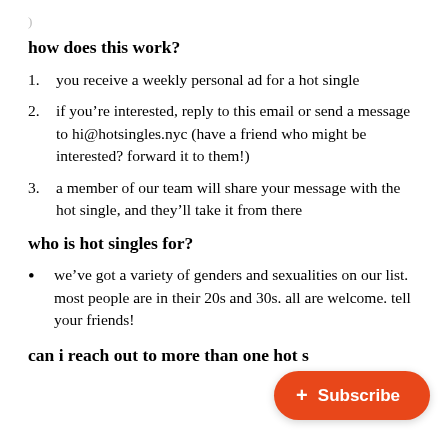how does this work?
1. you receive a weekly personal ad for a hot single
2. if you're interested, reply to this email or send a message to hi@hotsingles.nyc (have a friend who might be interested? forward it to them!)
3. a member of our team will share your message with the hot single, and they'll take it from there
who is hot singles for?
we've got a variety of genders and sexualities on our list. most people are in their 20s and 30s. all are welcome. tell your friends!
can i reach out to more than one hot s…